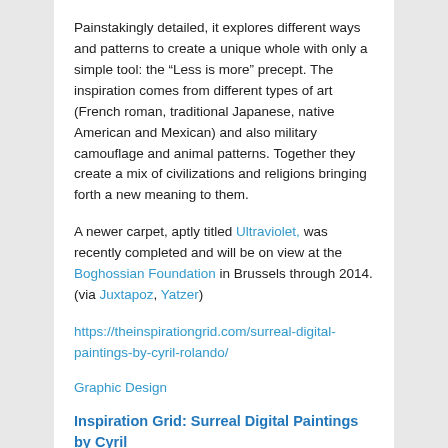Painstakingly detailed, it explores different ways and patterns to create a unique whole with only a simple tool: the “Less is more” precept. The inspiration comes from different types of art (French roman, traditional Japanese, native American and Mexican) and also military camouflage and animal patterns. Together they create a mix of civilizations and religions bringing forth a new meaning to them.
A newer carpet, aptly titled Ultraviolet, was recently completed and will be on view at the Boghossian Foundation in Brussels through 2014. (via Juxtapoz, Yatzer)
https://theinspirationgrid.com/surreal-digital-paintings-by-cyril-rolando/
Graphic Design
Inspiration Grid: Surreal Digital Paintings by Cyril